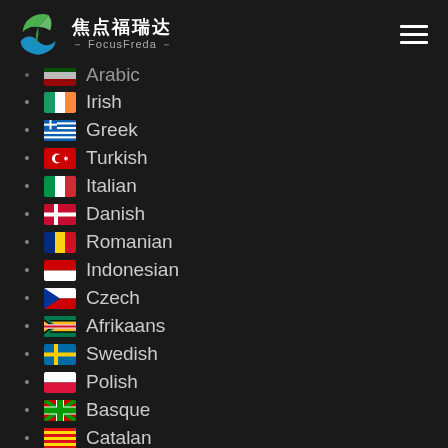焦点福瑞达 FocusFreda
Arabic
Irish
Greek
Turkish
Italian
Danish
Romanian
Indonesian
Czech
Afrikaans
Swedish
Polish
Basque
Catalan